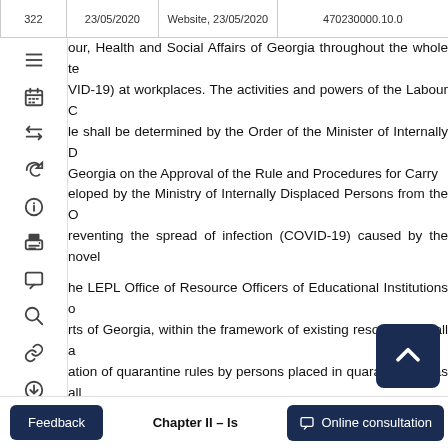322 | 23/05/2020 | Website, 23/05/2020 | 470230000.10.0
our, Health and Social Affairs of Georgia throughout the whole te... (COVID-19) at workplaces. The activities and powers of the Labour C... le shall be determined by the Order of the Minister of Internally D... Georgia on the Approval of the Rule and Procedures for Carry... eloped by the Ministry of Internally Displaced Persons from the O... reventing the spread of infection (COVID-19) caused by the novel...
he LEPL Office of Resource Officers of Educational Institutions o... rts of Georgia, within the framework of existing resources, shall a... ation of quarantine rules by persons placed in quarantine areas all...
n coordination with certain agencies and international partners, the... ide information on the carrying out of emergency measures fo... ulation living in the occupied territories of Georgia and to ethni... erstandable language and through available means of communi... inisations, the Office of the State Minister of Georgia for Reconcili...
Chapter II – Is...